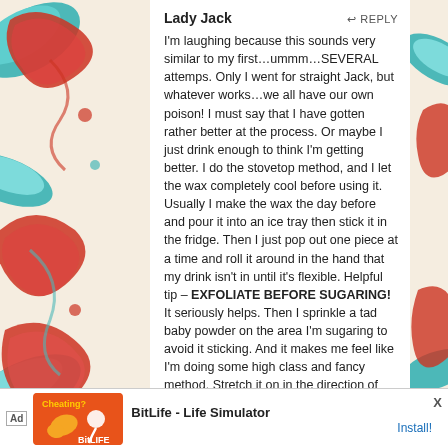Lady Jack   REPLY
I'm laughing because this sounds very similar to my first…ummm…SEVERAL attemps.  Only I went for straight Jack, but whatever works…we all have our own poison!  I must say that I have gotten rather better at the process.  Or maybe I just drink enough to think I'm getting better.  I do the stovetop method, and I let the wax completely cool before using it.  Usually I make the wax the day before and pour it into an ice tray then stick it in the fridge.  Then I just pop out one piece at a time and roll it around in the hand that my drink isn't in until it's flexible.  Helpful tip – EXFOLIATE BEFORE SUGARING!  It seriously helps.  Then I sprinkle a tad baby powder on the area I'm sugaring to avoid it sticking.  And it makes me feel like I'm doing some high class and fancy method.  Stretch it on in the direction of hair growth, then rip >insert choice words, fuckbag is a favorite of mine< and drink.  Since the wax is cool you don't have to use any kind of strips.  Sometimes I have to go over the areas more than once to get the stray hairs but overall it works great!  And I completely agree, GREAT
[Figure (infographic): Advertisement bar at bottom: BitLife - Life Simulator app ad with orange icon and Install button]